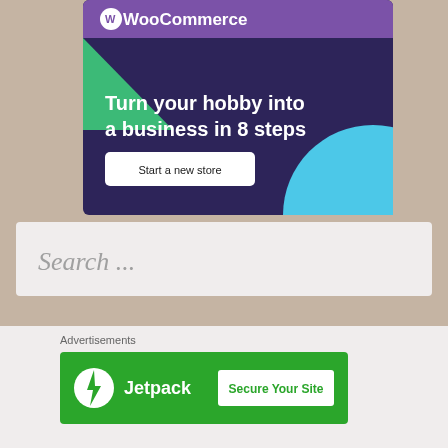[Figure (screenshot): WooCommerce advertisement banner with dark purple background, showing WooCommerce logo at top in purple bar, green triangle decoration on left, blue circle decoration on right, headline 'Turn your hobby into a business in 8 steps', and white 'Start a new store' button.]
[Figure (screenshot): Search input box with placeholder text 'Search ...' on light gray background.]
[Figure (screenshot): Close/X button circle icon on the right side.]
Advertisements
[Figure (screenshot): Jetpack advertisement banner with green background showing Jetpack logo with lightning bolt icon on the left and 'Secure Your Site' button on the right.]